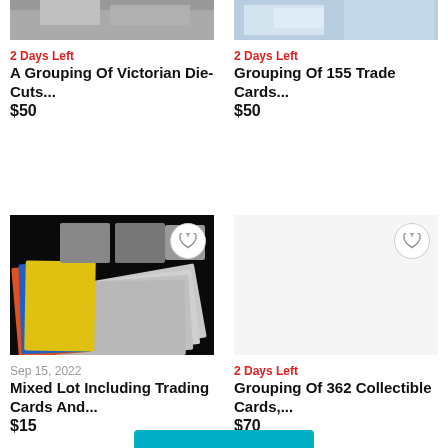[Figure (photo): Cropped top of Victorian Die-Cuts item photo]
2 Days Left
A Grouping Of Victorian Die-Cuts...
$50
[Figure (photo): Cropped top of Grouping Of 155 Trade Cards item photo]
2 Days Left
Grouping Of 155 Trade Cards...
$50
[Figure (photo): Photo of mixed lot of trading cards and comics fanned out on dark background]
Sep 15, 2022
Mixed Lot Including Trading Cards And...
$15
2 Days Left
Grouping Of 362 Collectible Cards,...
$70